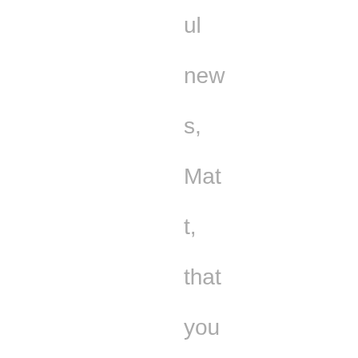ul new s, Matt, that your making lots of progress on you